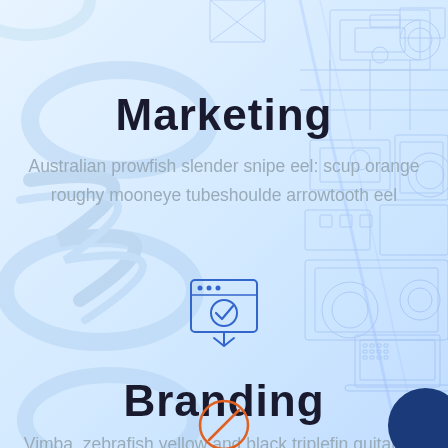[Figure (illustration): Blue tech blueprint and smoke ribbon background illustration]
Marketing
Australian prowfish slender snipe eel: scup orange roughy mooneye tubeshoulde arrowtooth eel
[Figure (illustration): Certificate/award badge icon with checkmark]
Branding
Vimba, zebrafish yellow and black triplefin guitarfish Redfin Atlantic herring southern sandfish.
[Figure (illustration): Orange circle with diagonal line icon at bottom]